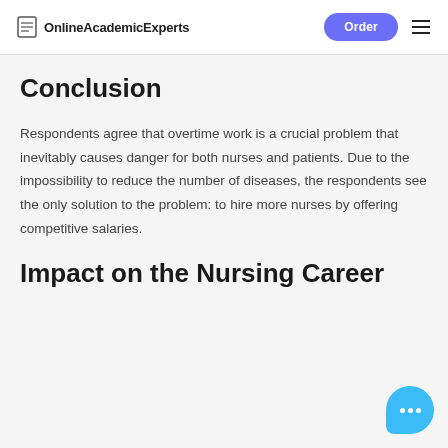OnlineAcademicExperts | Order
Conclusion
Respondents agree that overtime work is a crucial problem that inevitably causes danger for both nurses and patients. Due to the impossibility to reduce the number of diseases, the respondents see the only solution to the problem: to hire more nurses by offering competitive salaries.
Impact on the Nursing Career